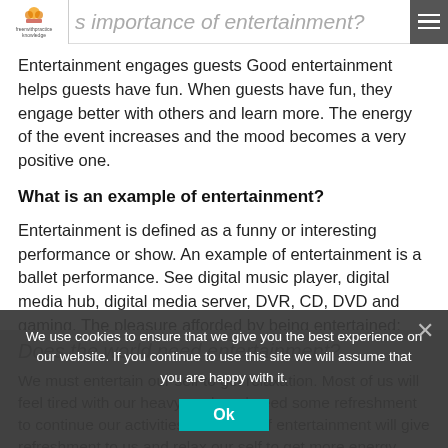s importance of entertainment?
Entertainment engages guests Good entertainment helps guests have fun. When guests have fun, they engage better with others and learn more. The energy of the event increases and the mood becomes a very positive one.
What is an example of entertainment?
Entertainment is defined as a funny or interesting performance or show. An example of entertainment is a ballet performance. See digital music player, digital media hub, digital media server, DVR, CD, DVD and gaming. The pleasure afforded by being entertained; amusement.
Does the world need entertainment?
We must entertain our self to get relaxation. Most of us will feel tired with our heavy work and need some refreshment to continue our activities. This kind of entertainment will give refreshment to us and relax our self to get more energy. Entertainment is surely...
We use cookies to ensure that we give you the best experience on our website. If you continue to use this site we will assume that you are happy with it.